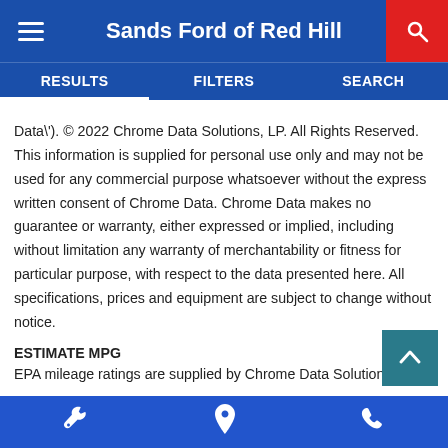Sands Ford of Red Hill
RESULTS   FILTERS   SEARCH
Data\'). © 2022 Chrome Data Solutions, LP. All Rights Reserved. This information is supplied for personal use only and may not be used for any commercial purpose whatsoever without the express written consent of Chrome Data. Chrome Data makes no guarantee or warranty, either expressed or implied, including without limitation any warranty of merchantability or fitness for particular purpose, with respect to the data presented here. All specifications, prices and equipment are subject to change without notice.
ESTIMATE MPG
EPA mileage ratings are supplied by Chrome Data Solutions, LP for comparison purposes only. Your actual mileage will vary, depending on how you drive and maintain your vehicle, driving conditions,